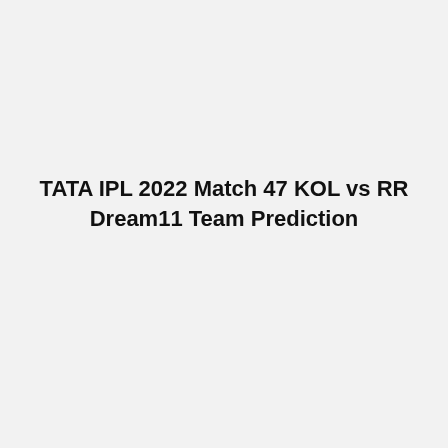TATA IPL 2022 Match 47 KOL vs RR Dream11 Team Prediction